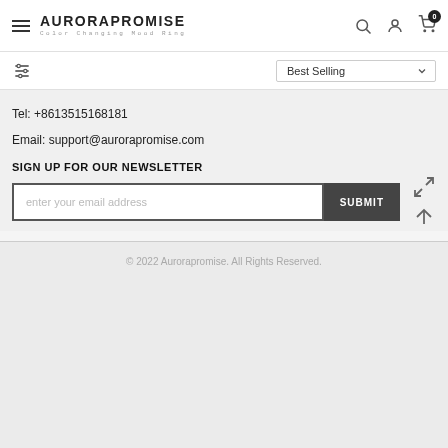AURORAPROMISE Color Changing Mood Ring
Best Selling
Tel: +8613515168181
Email: support@aurorapromise.com
SIGN UP FOR OUR NEWSLETTER
enter your email address
SUBMIT
© 2022 Aurorapromise. All Rights Reserved.